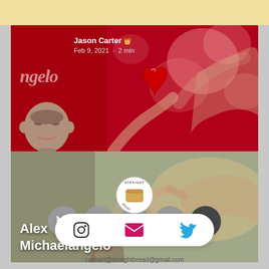[Figure (screenshot): Mobile app screenshot showing a blog post preview card for 'Alex Genadinik - Oh Michaelangelo' by Jason Carter, dated Feb 9, 2021, 2 min read. Card has a red upper section with heart imagery and a lower section with Michelangelo's Creation of Adam painting. Below the card are social media icons (Twitter, Instagram, Facebook, YouTube, up arrow), a Straight Bread logo, a white share bar with Instagram, email, and Twitter icons, and a contact email address.]
Jason Carter
Feb 9, 2021 · 2 min
Alex Genadinik - Oh Michaelangelo
contact@straightbread@gmail.com